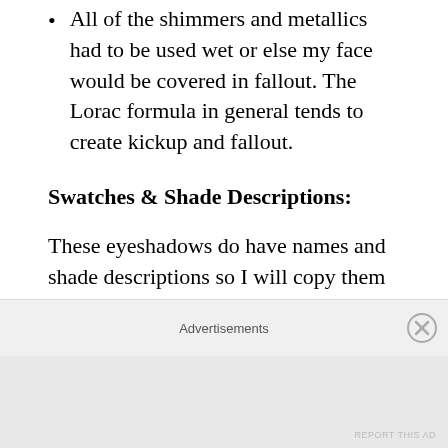All of the shimmers and metallics had to be used wet or else my face would be covered in fallout. The Lorac formula in general tends to create kickup and fallout.
Swatches & Shade Descriptions:
These eyeshadows do have names and shade descriptions so I will copy them from the website. I'll be going from left to right, top row to bottom row. This photo was taken with flash to show off the sparkle.
Advertisements